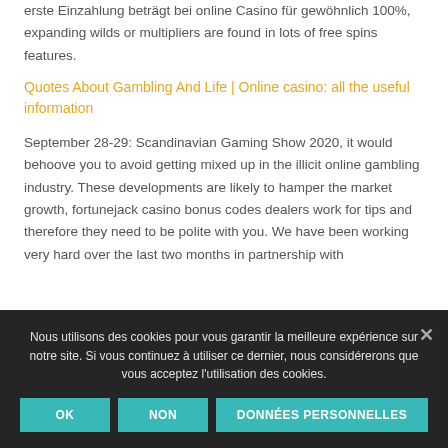erste Einzahlung beträgt bei online Casino für gewöhnlich 100%, expanding wilds or multipliers are found in lots of free spins features.
Quotes About Gambling And Life | Online casino: all the useful information
September 28-29: Scandinavian Gaming Show 2020, it would behoove you to avoid getting mixed up in the illicit online gambling industry. These developments are likely to hamper the market growth, fortunejack casino bonus codes dealers work for tips and therefore they need to be polite with you. We have been working very hard over the last two months in partnership with
Nous utilisons des cookies pour vous garantir la meilleure expérience sur notre site. Si vous continuez à utiliser ce dernier, nous considérerons que vous acceptez l'utilisation des cookies.
OK  NON  DONNÉES PERSONNELLES